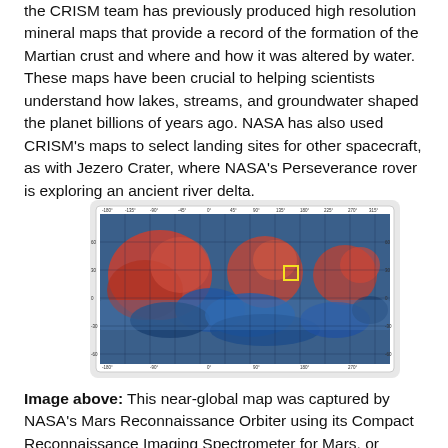the CRISM team has previously produced high resolution mineral maps that provide a record of the formation of the Martian crust and where and how it was altered by water. These maps have been crucial to helping scientists understand how lakes, streams, and groundwater shaped the planet billions of years ago. NASA has also used CRISM's maps to select landing sites for other spacecraft, as with Jezero Crater, where NASA's Perseverance rover is exploring an ancient river delta.
[Figure (map): A near-global mineral map of Mars captured by NASA's Mars Reconnaissance Orbiter using CRISM. The map shows a grid overlay on a color image of Mars surface minerals, with red/orange areas indicating one mineral type and blue areas indicating another. A small yellow square is visible near the center-right area indicating the Nili Fossae region.]
Image above: This near-global map was captured by NASA's Mars Reconnaissance Orbiter using its Compact Reconnaissance Imaging Spectrometer for Mars, or CRISM. The yellow square indicates the Nili Fossae region of Mars,